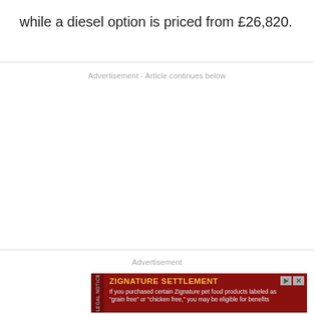while a diesel option is priced from £26,820.
Advertisement - Article continues below
[Figure (other): Empty advertisement space placeholder]
Advertisement
[Figure (other): ZIGNATURE SETTLEMENT legal notice ad banner. Text: If you purchased certain Zignature pet food products labeled as "grain free" or "chicken free," you may be eligible for benefits]